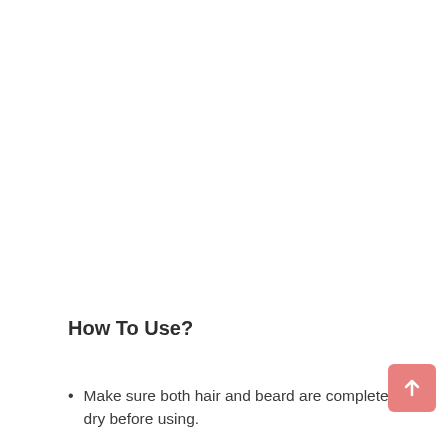How To Use?
Make sure both hair and beard are completely dry before using.